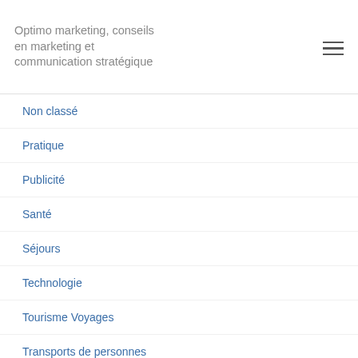Optimo marketing, conseils en marketing et communication stratégique
Non classé
Pratique
Publicité
Santé
Séjours
Technologie
Tourisme Voyages
Transports de personnes